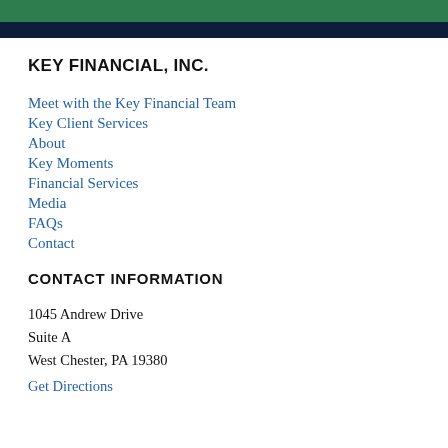KEY FINANCIAL, INC.
KEY FINANCIAL, INC.
Meet with the Key Financial Team
Key Client Services
About
Key Moments
Financial Services
Media
FAQs
Contact
CONTACT INFORMATION
1045 Andrew Drive
Suite A
West Chester, PA 19380
Get Directions